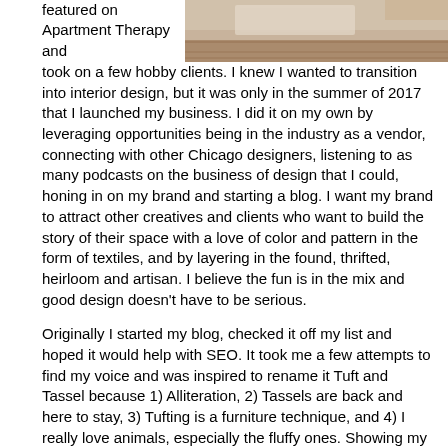featured on Apartment Therapy and
[Figure (photo): Photo of a rug or textile on a wooden floor, shot from above]
took on a few hobby clients. I knew I wanted to transition into interior design, but it was only in the summer of 2017 that I launched my business. I did it on my own by leveraging opportunities being in the industry as a vendor, connecting with other Chicago designers, listening to as many podcasts on the business of design that I could, honing in on my brand and starting a blog. I want my brand to attract other creatives and clients who want to build the story of their space with a love of color and pattern in the form of textiles, and by layering in the found, thrifted, heirloom and artisan. I believe the fun is in the mix and good design doesn't have to be serious.
Originally I started my blog, checked it off my list and hoped it would help with SEO. It took me a few attempts to find my voice and was inspired to rename it Tuft and Tassel because 1) Alliteration, 2) Tassels are back and here to stay, 3) Tufting is a furniture technique, and 4) I really love animals, especially the fluffy ones. Showing my personality on social media was a new concept for me and I wanted to find a way to do it without being too serious. I started a series called House of Cutes where I design a room around an internet